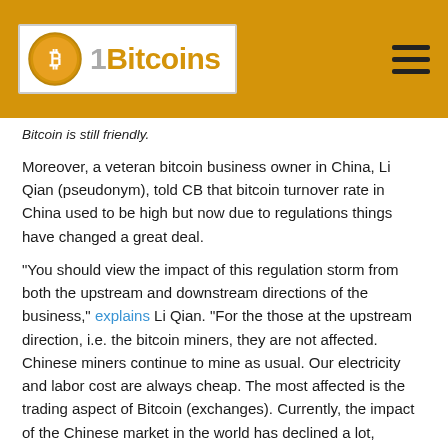1Bitcoins
Bitcoin is still friendly.
Moreover, a veteran bitcoin business owner in China, Li Qian (pseudonym), told CB that bitcoin turnover rate in China used to be high but now due to regulations things have changed a great deal.
“You should view the impact of this regulation storm from both the upstream and downstream directions of the business,” explains Li Qian. “For the those at the upstream direction, i.e. the bitcoin miners, they are not affected. Chinese miners continue to mine as usual. Our electricity and labor cost are always cheap. The most affected is the trading aspect of Bitcoin (exchanges). Currently, the impact of the Chinese market in the world has declined a lot, especially after charging fees, our turnover rate is now severely limited.”
Japan Takes The Lead
Over the past few months, Japan has become a big player
[Figure (illustration): Japan flag (red circle on white) with Bitcoin logo overlaid and silhouette of Japan map in black]